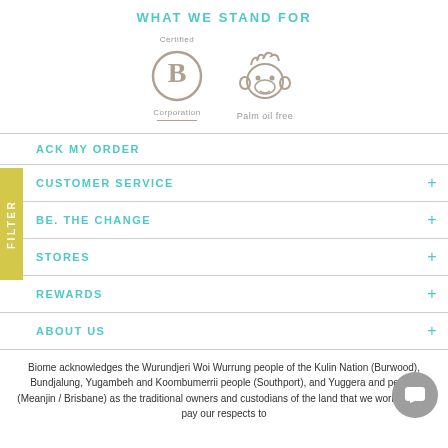WHAT WE STAND FOR
[Figure (logo): Certified B Corporation logo and Palm oil free monkey logo]
ACK MY ORDER
CUSTOMER SERVICE +
BE. THE CHANGE +
STORES +
REWARDS +
ABOUT US +
Biome acknowledges the Wurundjeri Woi Wurrung people of the Kulin Nation (Burwood), Bundjalung, Yugambeh and Koombumerrii people (Southport), and Yuggera and people (Meanjin / Brisbane) as the traditional owners and custodians of the land that we work on. We pay our respects to